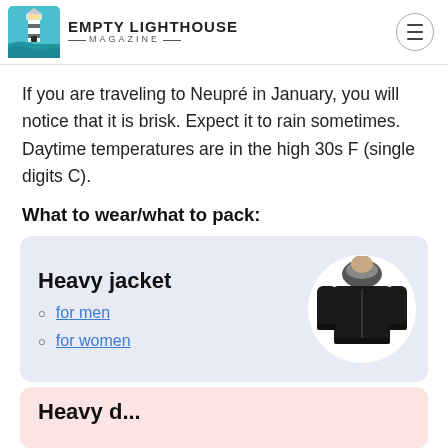Empty Lighthouse Magazine
If you are traveling to Neupré in January, you will notice that it is brisk. Expect it to rain sometimes. Daytime temperatures are in the high 30s F (single digits C).
What to wear/what to pack:
[Figure (infographic): Card with 'Heavy jacket' title, links for men and women, and image of a black women's parka jacket on white circular background]
[Figure (infographic): Partially visible pink card at bottom of page, showing beginning of another clothing item recommendation]